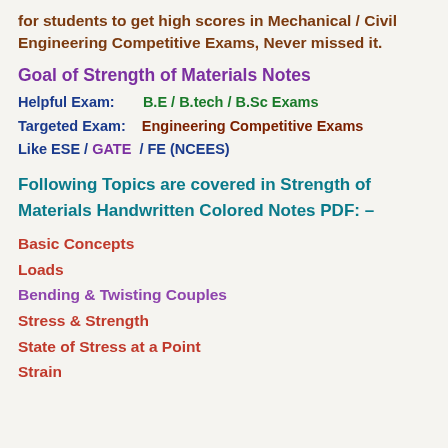for students to get high scores in Mechanical / Civil Engineering Competitive Exams, Never missed it.
Goal of Strength of Materials Notes
Helpful Exam:      B.E / B.tech / B.Sc Exams
Targeted Exam:    Engineering Competitive Exams Like ESE / GATE  / FE (NCEES)
Following Topics are covered in Strength of Materials Handwritten Colored Notes PDF: –
Basic Concepts
Loads
Bending & Twisting Couples
Stress & Strength
State of Stress at a Point
Strain